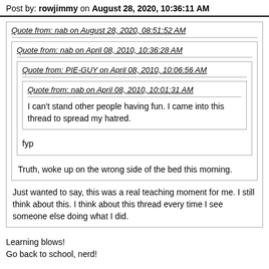Post by: rowjimmy on August 28, 2020, 10:36:11 AM
Quote from: nab on August 28, 2020, 08:51:52 AM
Quote from: nab on April 08, 2010, 10:36:28 AM
Quote from: PIE-GUY on April 08, 2010, 10:06:56 AM
Quote from: nab on April 08, 2010, 10:01:31 AM
I can't stand other people having fun. I came into this thread to spread my hatred.
fyp
Truth, woke up on the wrong side of the bed this morning.
Just wanted to say, this was a real teaching moment for me. I still think about this. I think about this thread every time I see someone else doing what I did.
Learning blows!
Go back to school, nerd!